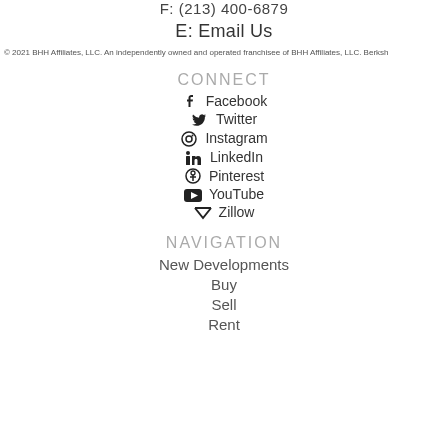F: (213) 400-6879
E: Email Us
© 2021 BHH Affiliates, LLC. An independently owned and operated franchisee of BHH Affiliates, LLC. Berksh
CONNECT
Facebook
Twitter
Instagram
LinkedIn
Pinterest
YouTube
Zillow
NAVIGATION
New Developments
Buy
Sell
Rent